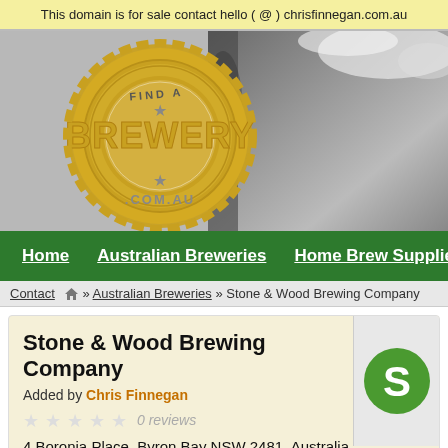This domain is for sale contact hello ( @ ) chrisfinnegan.com.au
[Figure (logo): Find A Brewery .com.au gold badge/stamp logo with gear-like border and stars]
[Figure (photo): Background photo of beer being poured, grayscale]
Home | Australian Breweries | Home Brew Supplies
Contact  🏠 » Australian Breweries » Stone & Wood Brewing Company
Stone & Wood Brewing Company
Added by Chris Finnegan
0 reviews
4 Boronia Place, Byron Bay NSW 2481, Australia